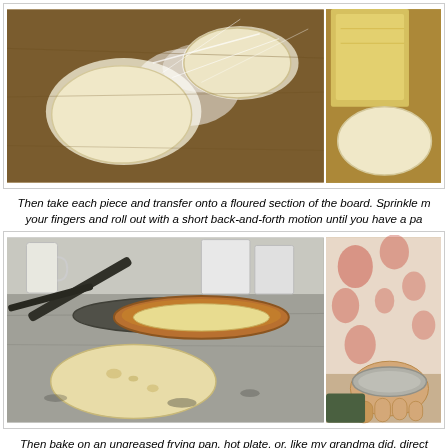[Figure (photo): Two photos side by side: left photo shows flattened dough pieces on a floured wooden board; right photo partially visible showing dough and packaging.]
Then take each piece and transfer onto a floured section of the board. Sprinkle m your fingers and roll out with a short back-and-forth motion until you have a pa
[Figure (photo): Two photos side by side: left photo shows a copper/bronze frying pan on a hot plate/stove with a flat bread being cooked, and another flat bread on the stone surface next to it; right photo shows hands handling food with a floral cloth in background.]
Then bake on an ungreased frying pan, hot plate, or, like my grandma did, direct Bake each side for few minutes, until they look done – they'll get dark spots